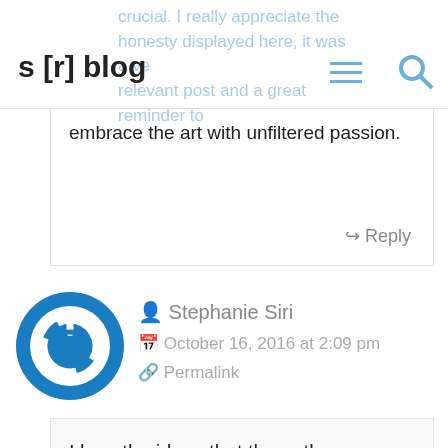s [r] blog
crucial. I really appreciate the honesty displayed here, it was a very relevant post and a great reminder to embrace the art with unfiltered passion.
Reply
Stephanie Siri
October 16, 2016 at 2:09 pm
Permalink
I love the ideas that the author presents in this essay. One of my favorite lines was “To be an artist is to chose to be uncivilized, I care about things that society doesn’t necessarily value,”. I find this to be very true, writers, artists, musicians, we see the world differently